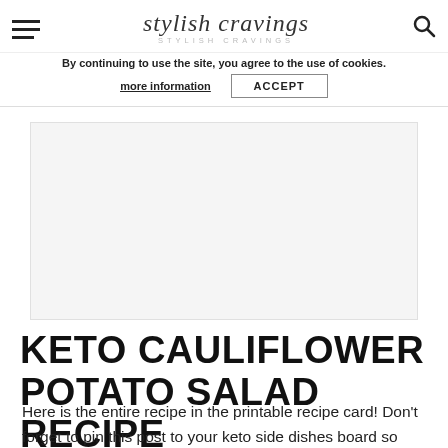stylish cravings
By continuing to use the site, you agree to the use of cookies.
more information   ACCEPT
[Figure (other): Advertisement placeholder area]
KETO CAULIFLOWER POTATO SALAD RECIPE
Here is the entire recipe in the printable recipe card! Don't forget to pin this post to your keto side dishes board so you can find it later.